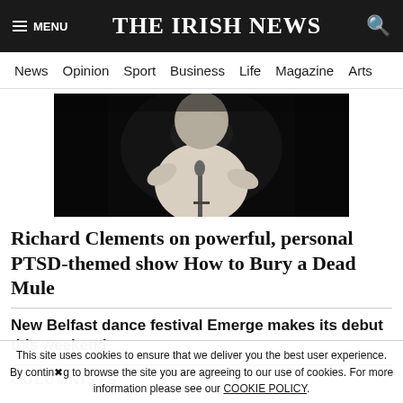THE IRISH NEWS
News  Opinion  Sport  Business  Life  Magazine  Arts
[Figure (photo): A performer in a white shirt stands at a microphone on a dark stage, gesturing with both hands.]
Richard Clements on powerful, personal PTSD-themed show How to Bury a Dead Mule
New Belfast dance festival Emerge makes its debut this weekend
COLUMNISTS
This site uses cookies to ensure that we deliver you the best user experience. By continuing to browse the site you are agreeing to our use of cookies. For more information please see our COOKIE POLICY.